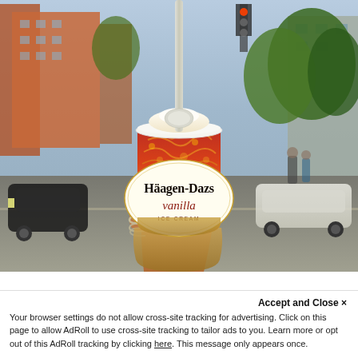[Figure (photo): A hand holding a Häagen-Dazs vanilla ice cream cup with a spoon sticking out, photographed on a city street with buildings, trees, and cars in the background.]
Accept and Close ×
Your browser settings do not allow cross-site tracking for advertising. Click on this page to allow AdRoll to use cross-site tracking to tailor ads to you. Learn more or opt out of this AdRoll tracking by clicking here. This message only appears once.